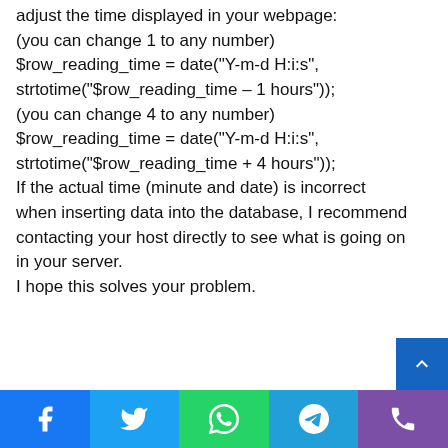adjust the time displayed in your webpage:
(you can change 1 to any number)
$row_reading_time = date("Y-m-d H:i:s", strtotime("$row_reading_time – 1 hours"));
(you can change 4 to any number)
$row_reading_time = date("Y-m-d H:i:s", strtotime("$row_reading_time + 4 hours"));
If the actual time (minute and date) is incorrect when inserting data into the database, I recommend contacting your host directly to see what is going on in your server.
I hope this solves your problem.
[Figure (other): Blue scroll-to-top button with upward chevron arrow]
[Figure (other): Social media share bar with Facebook, Twitter, WhatsApp, Telegram, and Phone icons]